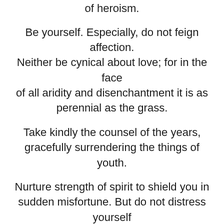of heroism.
Be yourself. Especially, do not feign affection. Neither be cynical about love; for in the face of all aridity and disenchantment it is as perennial as the grass.
Take kindly the counsel of the years, gracefully surrendering the things of youth.
Nurture strength of spirit to shield you in sudden misfortune. But do not distress yourself with dark imaginings. Many fears are born of fatigue and loneliness.
Beyond a wholesome discipline, be gentle with yourself. You are a child of the universe